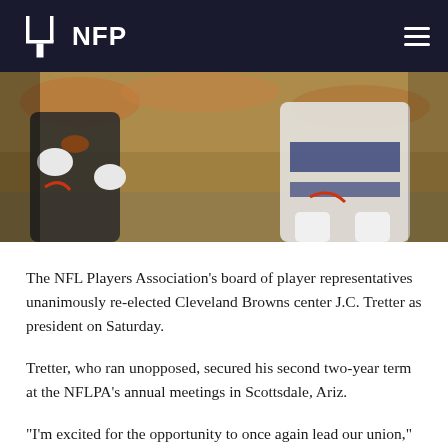NFP
[Figure (photo): Two NFL players in action on field — one in dark jersey with white gloves, another in light uniform, close-contact play]
The NFL Players Association's board of player representatives unanimously re-elected Cleveland Browns center J.C. Tretter as president on Saturday.
Tretter, who ran unopposed, secured his second two-year term at the NFLPA's annual meetings in Scottsdale, Ariz.
“I’m excited for the opportunity to once again lead our union,” said Tretter, 31. “My first term brought some